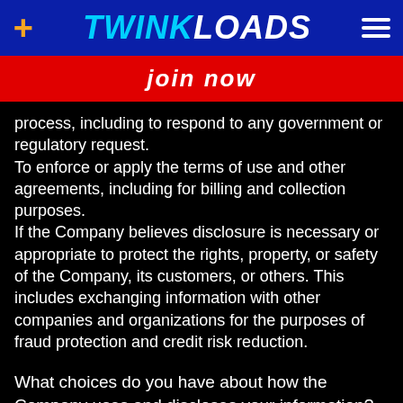TWINKLOADS
JOIN NOW
process, including to respond to any government or regulatory request.
To enforce or apply the terms of use and other agreements, including for billing and collection purposes.
If the Company believes disclosure is necessary or appropriate to protect the rights, property, or safety of the Company, its customers, or others. This includes exchanging information with other companies and organizations for the purposes of fraud protection and credit risk reduction.
What choices do you have about how the Company uses and discloses your information?